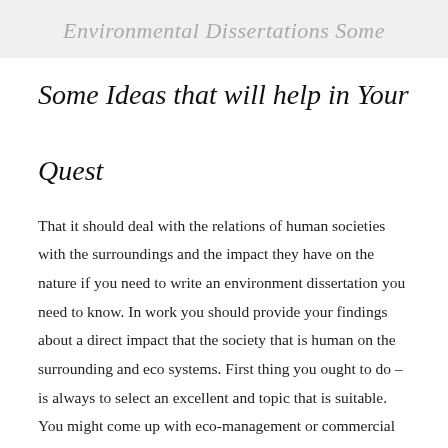Environmental Dissertations Some
Some Ideas that will help in Your Quest
That it should deal with the relations of human societies with the surroundings and the impact they have on the nature if you need to write an environment dissertation you need to know. In work you should provide your findings about a direct impact that the society that is human on the surrounding and eco systems. First thing you ought to do – is always to select an excellent and topic that is suitable. You might come up with eco-management or commercial ecology researching the results of expanding populace or some methods in the environments. You may start the researching and writing work